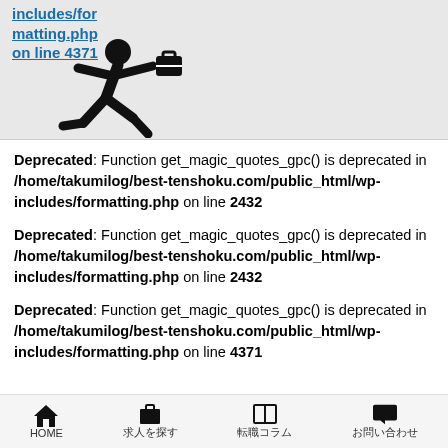includes/formatting.php on line 4371
[Figure (illustration): Running person carrying a briefcase icon (black silhouette)]
Deprecated: Function get_magic_quotes_gpc() is deprecated in /home/takumilog/best-tenshoku.com/public_html/wp-includes/formatting.php on line 2432
Deprecated: Function get_magic_quotes_gpc() is deprecated in /home/takumilog/best-tenshoku.com/public_html/wp-includes/formatting.php on line 2432
Deprecated: Function get_magic_quotes_gpc() is deprecated in /home/takumilog/best-tenshoku.com/public_html/wp-includes/formatting.php on line 4371
HOME | 求人を探す | 転職コラム | お問い合わせ